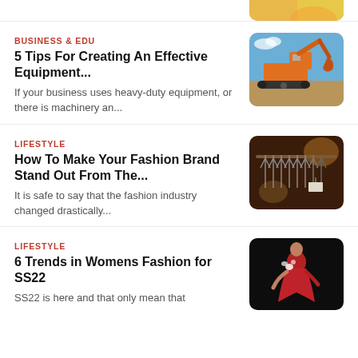BUSINESS & EDU
5 Tips For Creating An Effective Equipment...
If your business uses heavy-duty equipment, or there is machinery an...
[Figure (photo): Orange excavator/construction machine on a job site with blue sky background]
LIFESTYLE
How To Make Your Fashion Brand Stand Out From The...
It is safe to say that the fashion industry changed drastically...
[Figure (photo): Close-up of clothing hangers on a rack in a fashion store with warm lighting]
LIFESTYLE
6 Trends in Womens Fashion for SS22
SS22 is here and that only mean that
[Figure (photo): Woman in red outfit with white floral accessories against dark background]